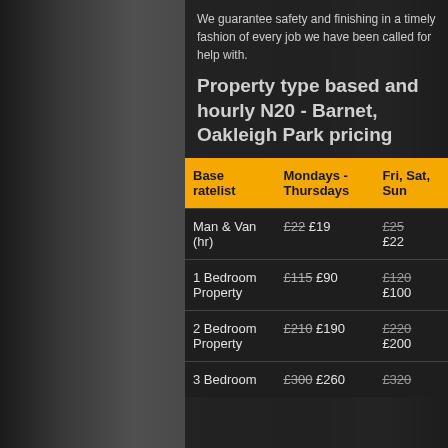We guarantee safety and finishing in a timely fashion of every job we have been called for help with.
Property type based and hourly N20 - Barnet, Oakleigh Park pricing
| Base ratelist | Mondays - Thursdays | Fri, Sat, Sun |
| --- | --- | --- |
| Man & Van (hr) | £22 £19 | £25 £22 |
| 1 Bedroom Property | £115 £90 | £120 £100 |
| 2 Bedroom Property | £210 £190 | £220 £200 |
| 3 Bedroom | £300 £260 | £320 |